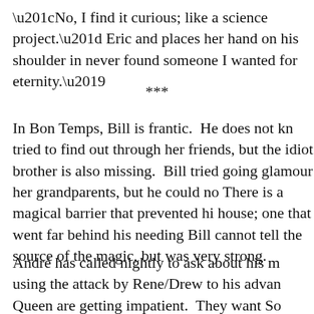“No, I find it curious; like a science project.” Eric and places her hand on his shoulder in never found someone I wanted for eternity.’
***
In Bon Temps, Bill is frantic.  He does not kn tried to find out through her friends, but the idiot brother is also missing.  Bill tried going glamour her grandparents, but he could no There is a magical barrier that prevented hi house; one that went far behind his needing Bill cannot tell the source of the magic, but was very strong.
André has called nightly to ask about his m using the attack by Rene/Drew to his advan Queen are getting impatient.  They want So